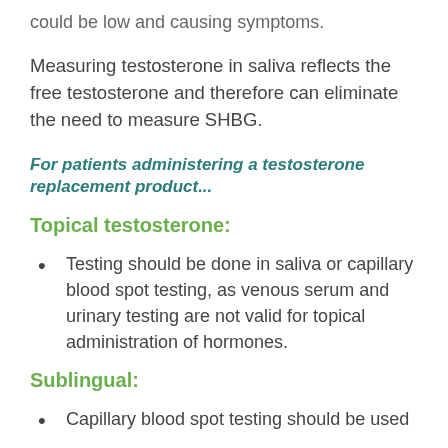could be low and causing symptoms.
Measuring testosterone in saliva reflects the free testosterone and therefore can eliminate the need to measure SHBG.
For patients administering a testosterone replacement product...
Topical testosterone:
Testing should be done in saliva or capillary blood spot testing, as venous serum and urinary testing are not valid for topical administration of hormones.
Sublingual:
Capillary blood spot testing should be used